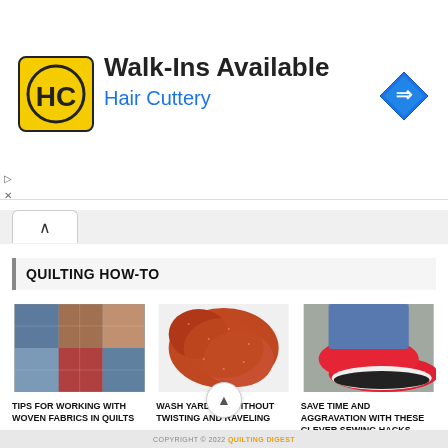[Figure (screenshot): Hair Cuttery advertisement banner with yellow/black HC logo, title 'Walk-Ins Available', subtitle 'Hair Cuttery', and a blue diamond navigation icon on the right]
QUILTING HOW-TO
[Figure (photo): Colorful woven fabric swatches stacked together in blues, reds, and plaids]
TIPS FOR WORKING WITH WOVEN FABRICS IN QUILTS
[Figure (photo): Rust/orange red draped fabric on white background]
WASH YARDAGE WITHOUT TWISTING AND RAVELING
[Figure (photo): Person wearing red sneakers, foot on gray carpet]
SAVE TIME AND AGGRAVATION WITH THESE CLEVER SEWING HACKS
COPYRIGHT © 2022 QUILTING DIGEST